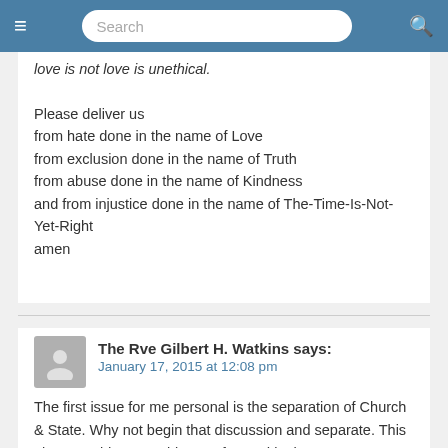Search
love is not love is unethical.

Please deliver us
from hate done in the name of Love
from exclusion done in the name of Truth
from abuse done in the name of Kindness
and from injustice done in the name of The-Time-Is-Not-Yet-Right
amen
The Rve Gilbert H. Watkins says:
January 17, 2015 at 12:08 pm

The first issue for me personal is the separation of Church & State. Why not begin that discussion and separate. This alone would move a big step forward in the 21st Century.

My personal thought is, how can I withhold God's